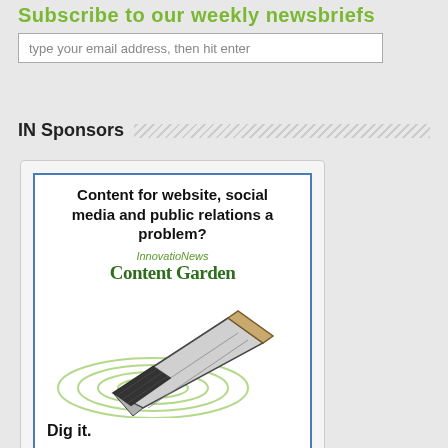Subscribe to our weekly newsbriefs
type your email address, then hit enter
IN Sponsors
[Figure (advertisement): InnovatioNews Content Garden advertisement showing a garden trowel with concentric circles and text: 'Content for website, social media and public relations a problem? InnovatioNews Content Garden. Dig it.']